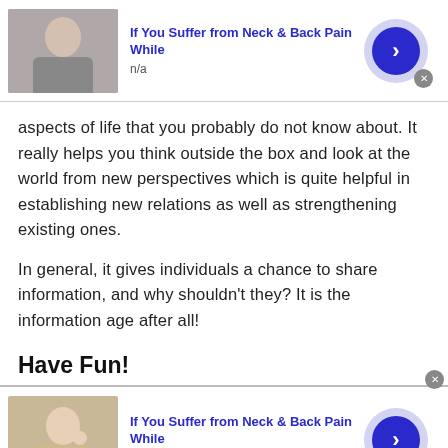[Figure (infographic): Ad banner: man holding neck, title 'If You Suffer from Neck & Back Pain While', subtitle 'n/a', arrow button, close button]
aspects of life that you probably do not know about. It really helps you think outside the box and look at the world from new perspectives which is quite helpful in establishing new relations as well as strengthening existing ones.
In general, it gives individuals a chance to share information, and why shouldn't they? It is the information age after all!
Have Fun!
[Figure (infographic): Ad banner: woman holding neck, title 'If You Suffer from Neck & Back Pain While', subtitle 'n/a', arrow button, close button]